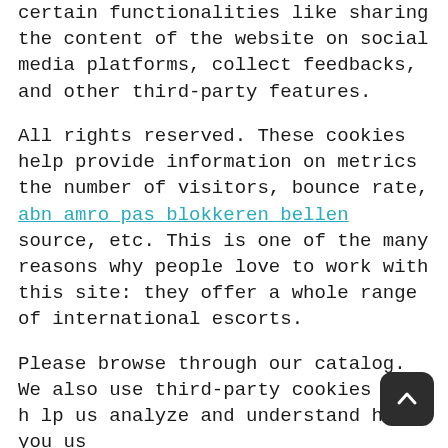certain functionalities like sharing the content of the website on social media platforms, collect feedbacks, and other third-party features.
All rights reserved. These cookies help provide information on metrics the number of visitors, bounce rate, abn amro pas blokkeren bellen source, etc. This is one of the many reasons why people love to work with this site: they offer a whole range of international escorts.
Please browse through our catalog. We also use third-party cookies that help us analyze and understand how you use